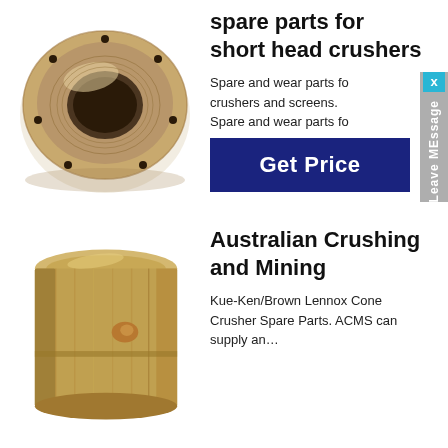[Figure (photo): Metallic threaded ring/flange spare part for cone crusher, viewed from above at an angle, showing internal threading and bolt holes around the rim.]
spare parts for short head crushers
Spare and wear parts for crushers and screens. Spare and wear parts fo
[Figure (other): Get Price button — dark navy blue rectangular button with white bold text reading 'Get Price']
[Figure (photo): Bronze/brass cylindrical bushing component (mainshaft sleeve) for cone crusher, with vertical ribbing and a small circular boss on the side.]
Australian Crushing and Mining
Kue-Ken/Brown Lennox Cone Crusher Spare Parts. ACMS can supply an…